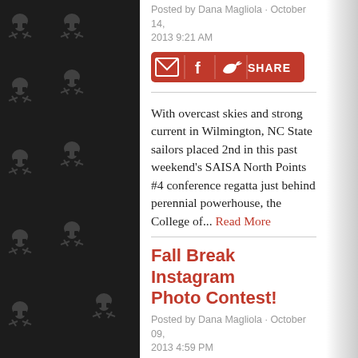Posted by Dana Magliola · October 14, 2013 9:21 AM
[Figure (infographic): Red share button bar with email, Facebook, and Twitter icons followed by SHARE label]
With overcast skies and strong current in Wilmington, NC State sailors placed 2nd in this past weekend's SAISA North Points #4 conference regatta just behind perennial powerhouse, the College of... Read More
Fall Break Instagram Photo Contest!
Posted by Dana Magliola · October 09, 2013 4:59 PM
[Figure (infographic): Red share button bar with email, Facebook, and Twitter icons followed by SHARE label (partially visible)]